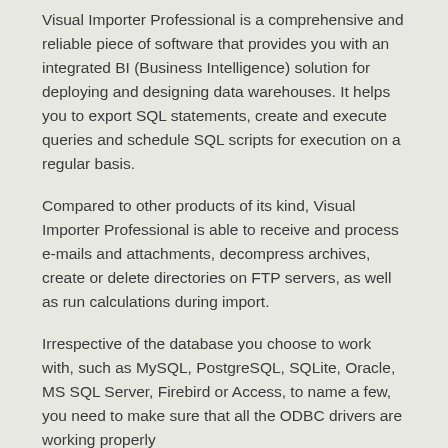Visual Importer Professional is a comprehensive and reliable piece of software that provides you with an integrated BI (Business Intelligence) solution for deploying and designing data warehouses. It helps you to export SQL statements, create and execute queries and schedule SQL scripts for execution on a regular basis.
Compared to other products of its kind, Visual Importer Professional is able to receive and process e-mails and attachments, decompress archives, create or delete directories on FTP servers, as well as run calculations during import.
Irrespective of the database you choose to work with, such as MySQL, PostgreSQL, SQLite, Oracle, MS SQL Server, Firebird or Access, to name a few, you need to make sure that all the ODBC drivers are working properly